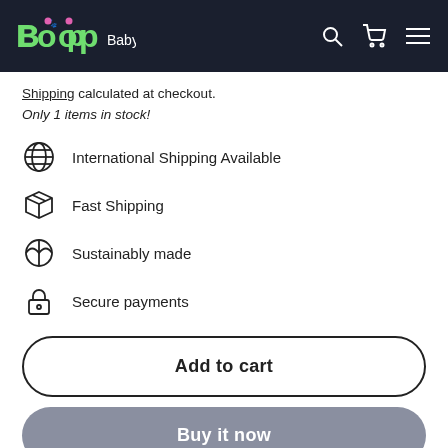Boop Baby
Shipping calculated at checkout.
Only 1 items in stock!
International Shipping Available
Fast Shipping
Sustainably made
Secure payments
Add to cart
Buy it now
Add to Registry
Boop Bucks